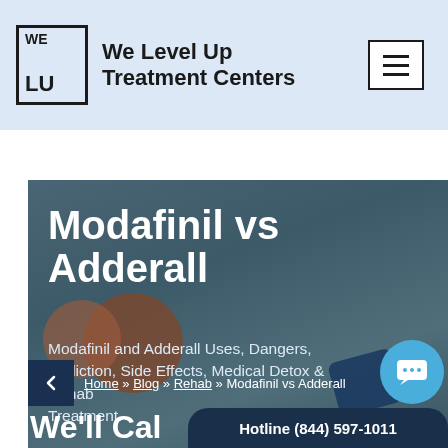We Level Up Treatment Centers
Modafinil vs Adderall
Modafinil and Adderall Uses, Dangers, Addiction, Side Effects, Medical Detox & Rehab Treatment.
Home » Blog » Rehab » Modafinil vs Adderall
Hotline (844) 597-1011
We'll Cal…